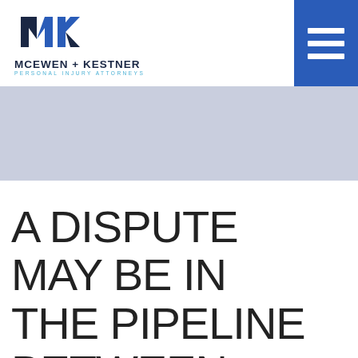[Figure (logo): McEwen + Kestner Personal Injury Attorneys logo with stylized MK lettermark in blue]
[Figure (other): Blue hamburger menu button in top-right corner]
[Figure (other): Light grey/blue hero banner image placeholder]
A DISPUTE MAY BE IN THE PIPELINE BETWEEN